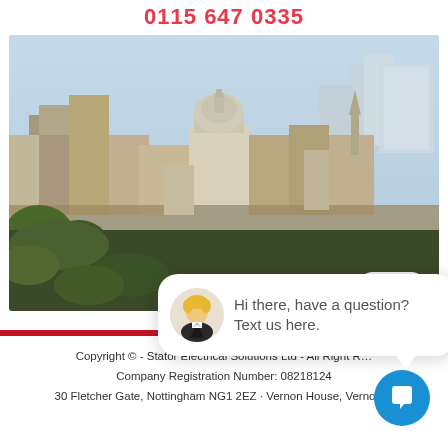0115 647 0335
[Figure (photo): Aerial/elevated view of Nottingham city centre showing the Council House dome and various city buildings with trees in the foreground]
close
Hi there, have a question? Text us here.
Copyright © - Stator Electrical Solutions Ltd - All Right R... Company Registration Number: 08218124 30 Fletcher Gate, Nottingham NG1 2EZ · Vernon House, Vernon...